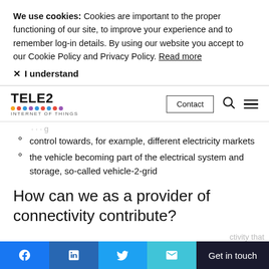We use cookies: Cookies are important to the proper functioning of our site, to improve your experience and to remember log-in details. By using our website you accept to our Cookie Policy and Privacy Policy. Read more
× I understand
[Figure (logo): Tele2 Internet of Things logo with colored dots]
Contact (button), search icon, hamburger menu
control towards, for example, different electricity markets
the vehicle becoming part of the electrical system and storage, so-called vehicle-2-grid
How can we as a provider of connectivity contribute?
Get in touch
Facebook, LinkedIn, Twitter, Email social share buttons